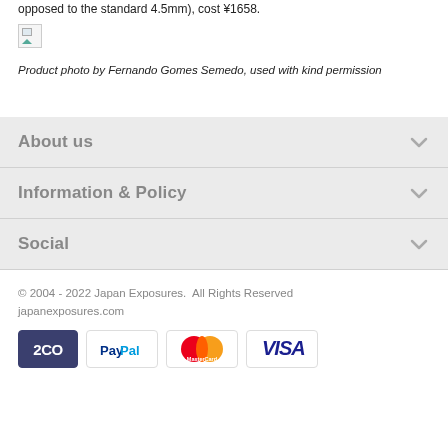opposed to the standard 4.5mm), cost ¥1658.
[Figure (photo): Broken image placeholder (small icon with landscape thumbnail)]
Product photo by Fernando Gomes Semedo, used with kind permission
About us
Information & Policy
Social
© 2004 - 2022 Japan Exposures.  All Rights Reserved japanexposures.com
[Figure (logo): Payment logos: 2CO, PayPal, MasterCard, VISA]